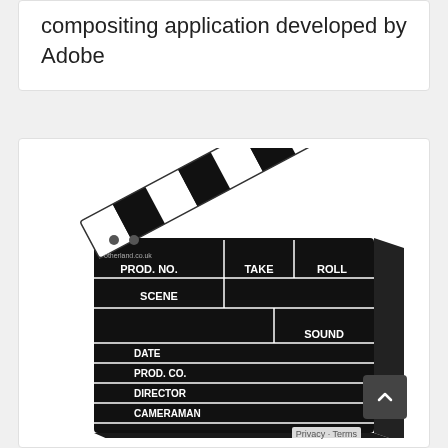compositing application developed by Adobe
[Figure (photo): A film clapperboard (slate) with black and white stripes on the top clapper, lying open. The board is black with white text labels reading: PROD. NO., TAKE, ROLL, SCENE, SOUND, DATE, PROD. CO., DIRECTOR, CAMERAMAN. The brand 'otherland.co.uk' is printed at the top left of the board.]